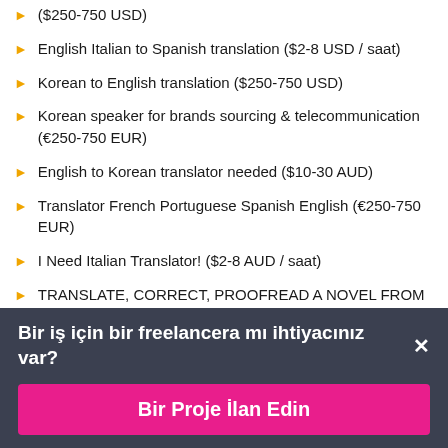($250-750 USD)
English Italian to Spanish translation ($2-8 USD / saat)
Korean to English translation ($250-750 USD)
Korean speaker for brands sourcing & telecommunication (€250-750 EUR)
English to Korean translator needed ($10-30 AUD)
Translator French Portuguese Spanish English (€250-750 EUR)
I Need Italian Translator! ($2-8 AUD / saat)
TRANSLATE, CORRECT, PROOFREAD A NOVEL FROM ENGLISH TO FRENCH ($250-750 USD)
Bir iş için bir freelancera mı ihtiyacınız var?
Bir Proje İlan Edin